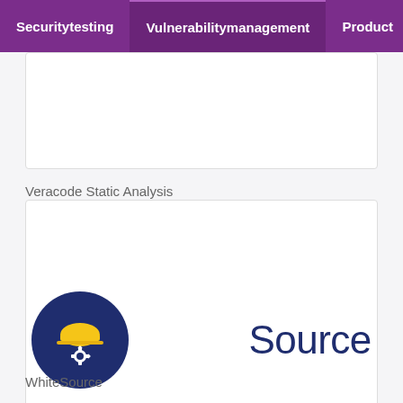Securitytesting | Vulnerabilitymanagement | Product
[Figure (logo): Empty white card placeholder for Veracode Static Analysis]
Veracode Static Analysis
[Figure (logo): WhiteSource logo: dark navy circle with yellow hard hat and gear icon, followed by bold white 'White' and regular navy 'Source' text]
WhiteSource